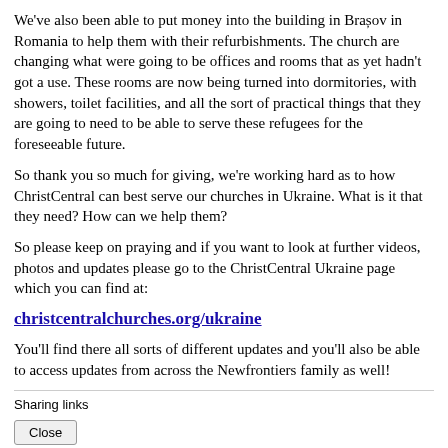We've also been able to put money into the building in Brașov in Romania to help them with their refurbishments. The church are changing what were going to be offices and rooms that as yet hadn't got a use. These rooms are now being turned into dormitories, with showers, toilet facilities, and all the sort of practical things that they are going to need to be able to serve these refugees for the foreseeable future.
So thank you so much for giving, we're working hard as to how ChristCentral can best serve our churches in Ukraine. What is it that they need? How can we help them?
So please keep on praying and if you want to look at further videos, photos and updates please go to the ChristCentral Ukraine page which you can find at:
christcentralchurches.org/ukraine
You'll find there all sorts of different updates and you'll also be able to access updates from across the Newfrontiers family as well!
Sharing links
Close